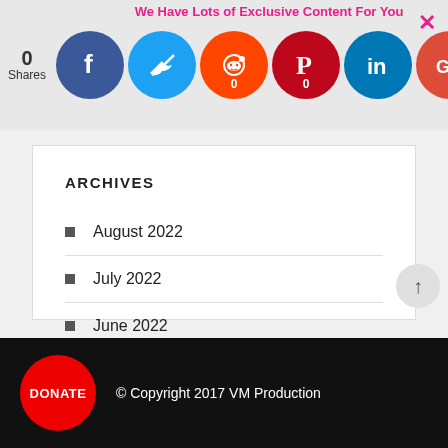[Figure (screenshot): Social media share bar with Facebook, Twitter, Reddit, Pinterest, LinkedIn, Google+ icons and share count of 0]
We Have Lots of Exclusive Content For You
ARCHIVES
August 2022
July 2022
June 2022
May 2022
March 2022
August 2021
© Copyright 2017 VM Production